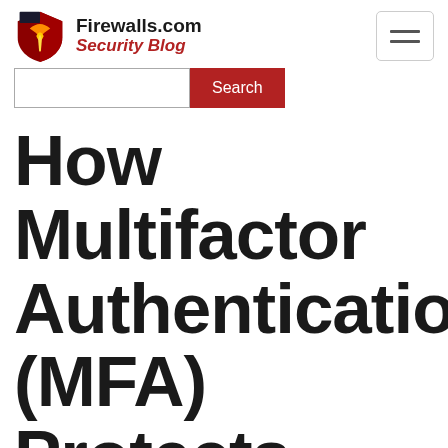Firewalls.com Security Blog
[Figure (logo): Firewalls.com Security Blog logo with shield icon]
How Multifactor Authentication (MFA) Protects Businesses & Cyber Insurors